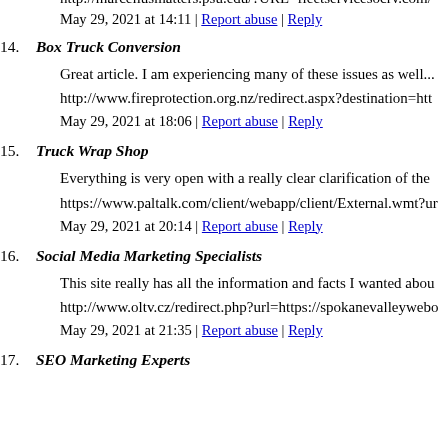http://marcellusmatters.psu.edu/?URL=fleetservicesocrv.com/
May 29, 2021 at 14:11 | Report abuse | Reply
14. Box Truck Conversion
Great article. I am experiencing many of these issues as well...
http://www.fireprotection.org.nz/redirect.aspx?destination=htt
May 29, 2021 at 18:06 | Report abuse | Reply
15. Truck Wrap Shop
Everything is very open with a really clear clarification of the
https://www.paltalk.com/client/webapp/client/External.wmt?ur
May 29, 2021 at 20:14 | Report abuse | Reply
16. Social Media Marketing Specialists
This site really has all the information and facts I wanted abou
http://www.oltv.cz/redirect.php?url=https://spokanevalleywebo
May 29, 2021 at 21:35 | Report abuse | Reply
17. SEO Marketing Experts